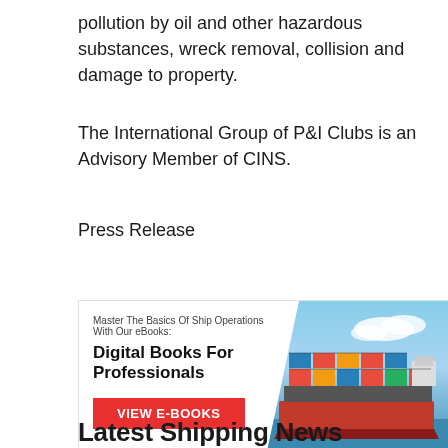pollution by oil and other hazardous substances, wreck removal, collision and damage to property.
The International Group of P&I Clubs is an Advisory Member of CINS.
Press Release
[Figure (infographic): Advertisement banner for digital eBooks. Text reads: 'Master The Basics Of Ship Operations With Our eBooks:' followed by bold heading 'Digital Books For Professionals' and a red button 'VIEW E-BOOKS'. Right side shows a container ship photo against blue sky.]
Latest Shipping News